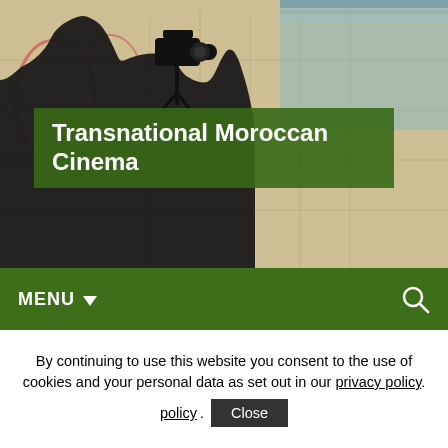[Figure (photo): Website header with silhouette of person operating a camera on tripod against a colorful illustrated background]
Transnational Moroccan Cinema
MENU ▼
Tag Archives: animation
[Figure (photo): Partial view of a framed image at bottom of page]
By continuing to use this website you consent to the use of cookies and your personal data as set out in our privacy policy.
Close